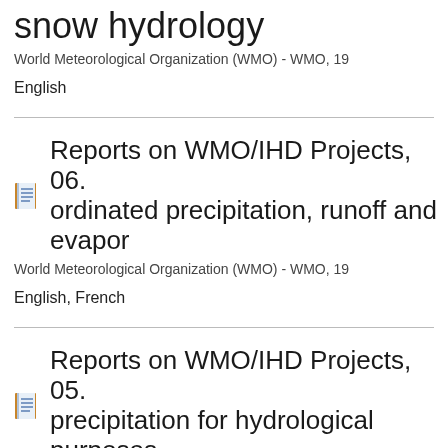snow hydrology
World Meteorological Organization (WMO) - WMO, 19
English
Reports on WMO/IHD Projects, 06. ordinated precipitation, runoff and evapor
World Meteorological Organization (WMO) - WMO, 19
English, French
Reports on WMO/IHD Projects, 05. precipitation for hydrological purposes
World Meteorological Organization (WMO) ; Wilk K.E